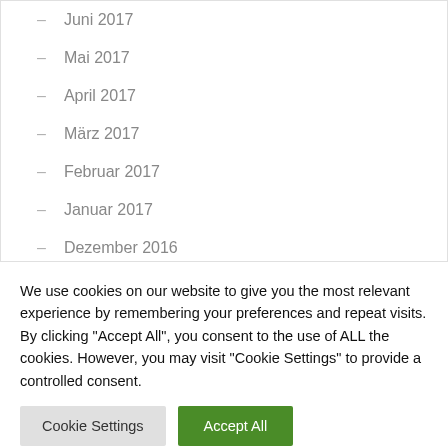– Juni 2017
– Mai 2017
– April 2017
– März 2017
– Februar 2017
– Januar 2017
– Dezember 2016
– November 2016
We use cookies on our website to give you the most relevant experience by remembering your preferences and repeat visits. By clicking "Accept All", you consent to the use of ALL the cookies. However, you may visit "Cookie Settings" to provide a controlled consent.
Cookie Settings | Accept All